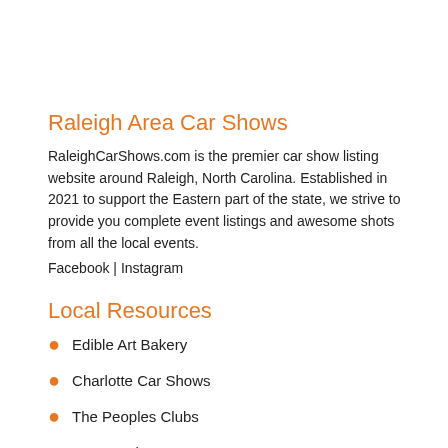Raleigh Area Car Shows
RaleighCarShows.com is the premier car show listing website around Raleigh, North Carolina. Established in 2021 to support the Eastern part of the state, we strive to provide you complete event listings and awesome shots from all the local events.
Facebook | Instagram
Local Resources
Edible Art Bakery
Charlotte Car Shows
The Peoples Clubs
Tour Stock Putters